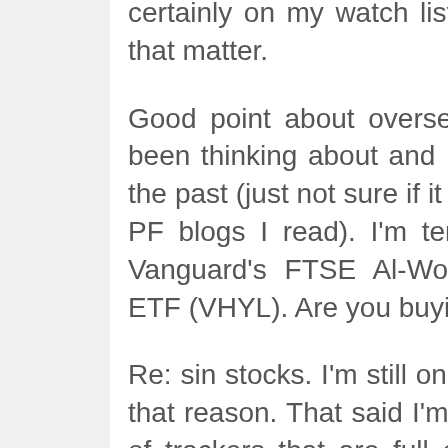certainly on my watch list. So are RR, DGE and SAB for that matter.
Good point about overseas HYP shares. Something I've been thinking about and I've made some comments on in the past (just not sure if it was here or on some of the other PF blogs I read). I'm tempted to grab exposure though Vanguard's FTSE Al-World High Dividend Yield UCITS ETF (VHYL). Are you buying direct or through a fund?
Re: sin stocks. I'm still on the fence and haven't bought for that reason. That said I'm a hypocrite here as I own plenty of trackers that are full of these types of companies. I'll probably roll over and buy soon though.
Re: REIT's. This is actually deliberate. Elsewhere in my full portfolio I target a 10% allocation to 'property'. 50% of it is a UK commercial property fund within my pension and 50% is European based via the ETF IPRP.